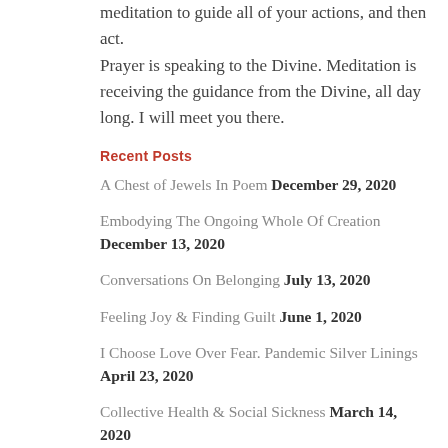meditation to guide all of your actions, and then act. Prayer is speaking to the Divine. Meditation is receiving the guidance from the Divine, all day long. I will meet you there.
Recent Posts
A Chest of Jewels In Poem December 29, 2020
Embodying The Ongoing Whole Of Creation December 13, 2020
Conversations On Belonging July 13, 2020
Feeling Joy & Finding Guilt June 1, 2020
I Choose Love Over Fear. Pandemic Silver Linings April 23, 2020
Collective Health & Social Sickness March 14, 2020